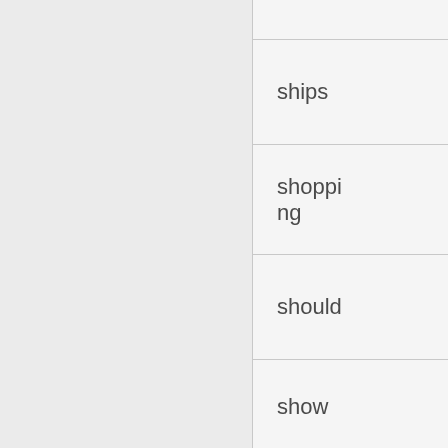|  |
| ships |
| shopping |
| should |
| show |
| signed |
| silpada |